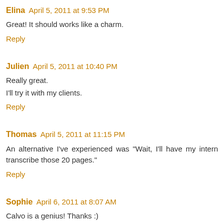Elina April 5, 2011 at 9:53 PM
Great! It should works like a charm.
Reply
Julien April 5, 2011 at 10:40 PM
Really great.
I'll try it with my clients.
Reply
Thomas April 5, 2011 at 11:15 PM
An alternative I've experienced was "Wait, I'll have my intern transcribe those 20 pages."
Reply
Sophie April 6, 2011 at 8:07 AM
Calvo is a genius! Thanks :)